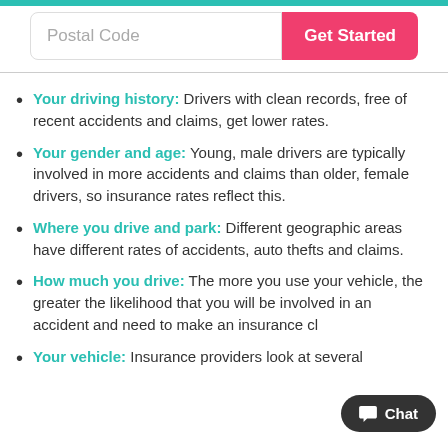[Figure (other): Teal top bar strip]
[Figure (other): Postal code input field with pink Get Started button]
Your driving history: Drivers with clean records, free of recent accidents and claims, get lower rates.
Your gender and age: Young, male drivers are typically involved in more accidents and claims than older, female drivers, so insurance rates reflect this.
Where you drive and park: Different geographic areas have different rates of accidents, auto thefts and claims.
How much you drive: The more you use your vehicle, the greater the likelihood that you will be involved in an accident and need to make an insurance cl...
Your vehicle: Insurance providers look at several